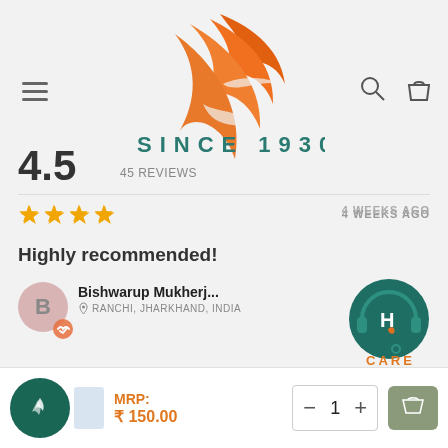[Figure (logo): Orange flame/feather logo with teal text 'SINCE 1930' below]
4.5  45 REVIEWS
★★★★  4 WEEKS AGO
Highly recommended!
Bishwarup Mukherj...
RANCHI, JHARKHAND, INDIA
[Figure (logo): Teal circle with headphone and H logo labeled CARE]
MRP:
₹ 150.00